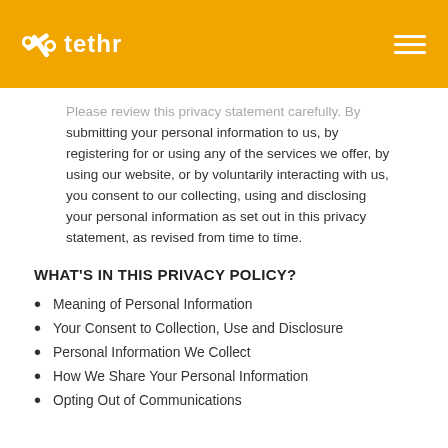tethr
Please review this privacy statement carefully. By submitting your personal information to us, by registering for or using any of the services we offer, by using our website, or by voluntarily interacting with us, you consent to our collecting, using and disclosing your personal information as set out in this privacy statement, as revised from time to time.
WHAT'S IN THIS PRIVACY POLICY?
Meaning of Personal Information
Your Consent to Collection, Use and Disclosure
Personal Information We Collect
How We Share Your Personal Information
Opting Out of Communications